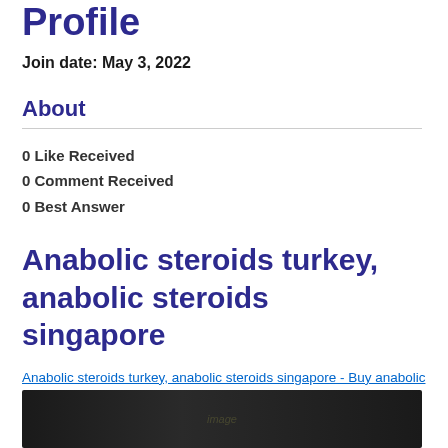Profile
Join date: May 3, 2022
About
0 Like Received
0 Comment Received
0 Best Answer
Anabolic steroids turkey, anabolic steroids singapore
Anabolic steroids turkey, anabolic steroids singapore - Buy anabolic steroids online
[Figure (photo): Dark background image, partially visible at bottom of page]